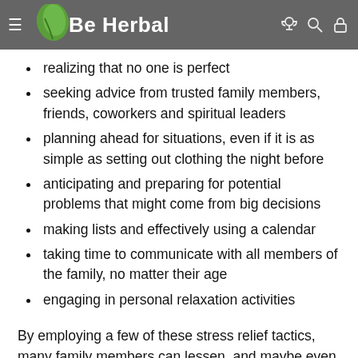Be Herbal (navigation bar with logo)
realizing that no one is perfect
seeking advice from trusted family members, friends, coworkers and spiritual leaders
planning ahead for situations, even if it is as simple as setting out clothing the night before
anticipating and preparing for potential problems that might come from big decisions
making lists and effectively using a calendar
taking time to communicate with all members of the family, no matter their age
engaging in personal relaxation activities
By employing a few of these stress relief tactics, many family members can lessen, and maybe even overcome, the overwhelming feelings of stress.
Of course, there are additional stresses that can happen for families. For example, single parents face a different set of struggles, as they try to balance acting as both parents for their children while also maintaining a job.